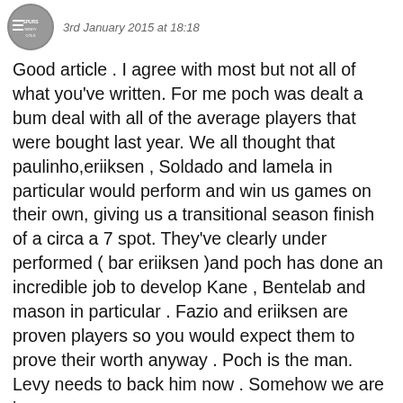3rd January 2015 at 18:18
Good article . I agree with most but not all of what you've written. For me poch was dealt a bum deal with all of the average players that were bought last year. We all thought that paulinho,eriiksen , Soldado and lamela in particular would perform and win us games on their own, giving us a transitional season finish of a circa a 7 spot. They've clearly under performed ( bar eriiksen )and poch has done an incredible job to develop Kane , Bentelab and mason in particular . Fazio and eriiksen are proven players so you would expect them to prove their worth anyway . Poch is the man. Levy needs to back him now . Somehow we are in an